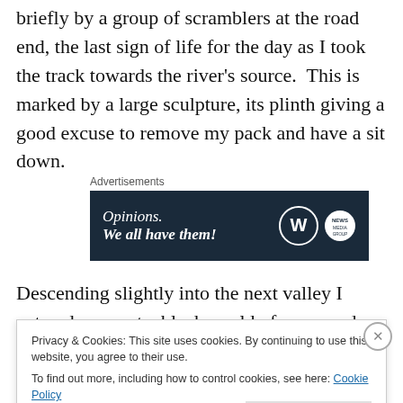briefly by a group of scramblers at the road end, the last sign of life for the day as I took the track towards the river's source.  This is marked by a large sculpture, its plinth giving a good excuse to remove my pack and have a sit down.
[Figure (screenshot): Advertisement banner with dark navy background showing text 'Opinions. We all have them!' with WordPress and another logo on the right.]
Descending slightly into the next valley I entered an empty, bleak world of moor and sky.  This is about as close as
Privacy & Cookies: This site uses cookies. By continuing to use this website, you agree to their use.
To find out more, including how to control cookies, see here: Cookie Policy
Close and accept